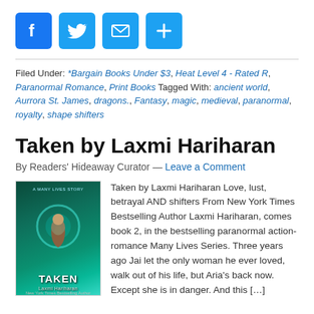[Figure (other): Social sharing icons: Facebook (blue), Twitter (light blue), Mail (light blue), Plus/Share (light blue)]
Filed Under: *Bargain Books Under $3, Heat Level 4 - Rated R, Paranormal Romance, Print Books Tagged With: ancient world, Aurrora St. James, dragons., Fantasy, magic, medieval, paranormal, royalty, shape shifters
Taken by Laxmi Hariharan
By Readers' Hideaway Curator — Leave a Comment
[Figure (photo): Book cover for 'Taken' by Laxmi Hariharan — dark teal/green fantasy cover with male figure, glowing orb]
Taken by Laxmi Hariharan Love, lust, betrayal AND shifters From New York Times Bestselling Author Laxmi Hariharan, comes book 2, in the bestselling paranormal action-romance Many Lives Series. Three years ago Jai let the only woman he ever loved, walk out of his life, but Aria's back now. Except she is in danger. And this […]